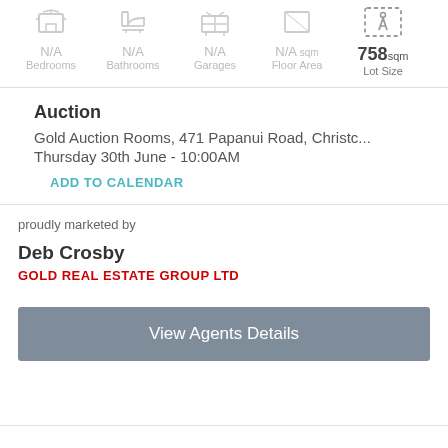N/A Bedrooms | N/A Bathrooms | N/A Garages | N/A sqm Floor Area | 758 sqm Lot Size
Auction
Gold Auction Rooms, 471 Papanui Road, Christc...
Thursday 30th June - 10:00AM
ADD TO CALENDAR
proudly marketed by
Deb Crosby
GOLD REAL ESTATE GROUP LTD
View Agents Details